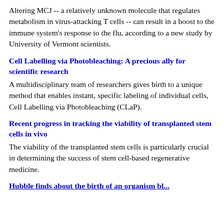Altering MCJ -- a relatively unknown molecule that regulates metabolism in virus-attacking T cells -- can result in a boost to the immune system's response to the flu, according to a new study by University of Vermont scientists.
Cell Labelling via Photobleaching: A precious ally for scientific research
A multidisciplinary team of researchers gives birth to a unique method that enables instant, specific labeling of individual cells, Cell Labelling via Photobleaching (CLaP).
Recent progress in tracking the viability of transplanted stem cells in vivo
The viability of the transplanted stem cells is particularly crucial in determining the success of stem cell-based regenerative medicine.
Hubble finds about the birth of an organism based...